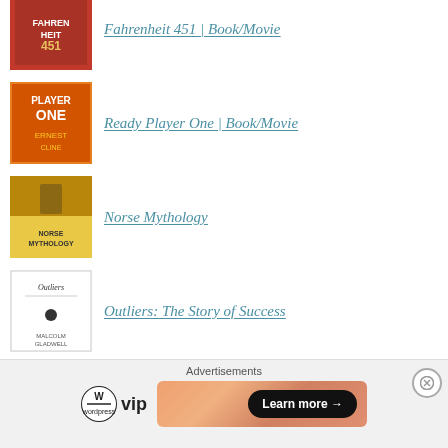Fahrenheit 451 | Book/Movie
Ready Player One | Book/Movie
Norse Mythology
Outliers: The Story of Success
About Me
Westworld
The Road
[Figure (screenshot): Advertisement banner with WordPress VIP logo and a gradient 'Learn more' button]
Advertisements